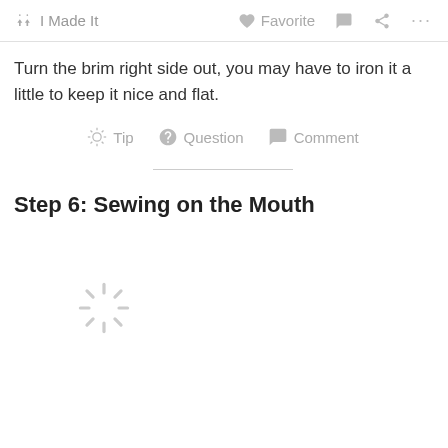I Made It   Favorite   Comment   Share   ...
Turn the brim right side out, you may have to iron it a little to keep it nice and flat.
Tip   Question   Comment
Step 6: Sewing on the Mouth
[Figure (other): Loading spinner icon shown while image content loads]